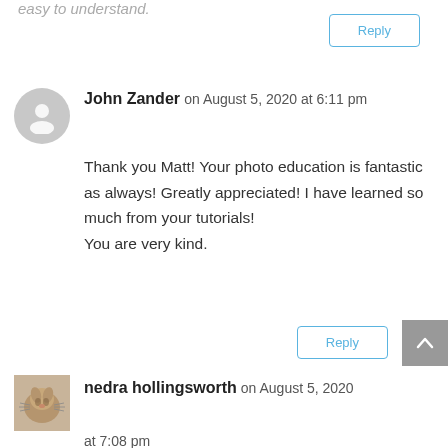easy to understand.
Reply
John Zander on August 5, 2020 at 6:11 pm
Thank you Matt! Your photo education is fantastic as always! Greatly appreciated! I have learned so much from your tutorials!
You are very kind.
Reply
nedra hollingsworth on August 5, 2020 at 7:08 pm
Awsome...I Thanks Matt...